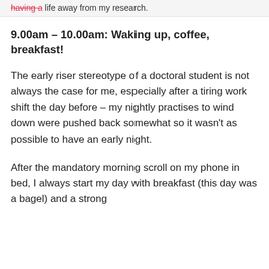having a life away from my research.
9.00am – 10.00am: Waking up, coffee, breakfast!
The early riser stereotype of a doctoral student is not always the case for me, especially after a tiring work shift the day before – my nightly practises to wind down were pushed back somewhat so it wasn't as possible to have an early night.
After the mandatory morning scroll on my phone in bed, I always start my day with breakfast (this day was a bagel) and a strong